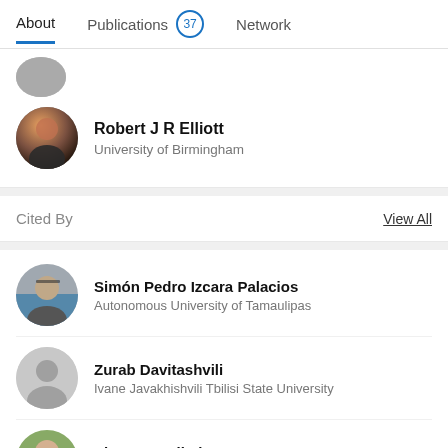About | Publications 37 | Network
Robert J R Elliott
University of Birmingham
Cited By
View All
Simón Pedro Izcara Palacios
Autonomous University of Tamaulipas
Zurab Davitashvili
Ivane Javakhishvili Tbilisi State University
Plamen V Nikolov
Harvard University
Cinthya Caamal